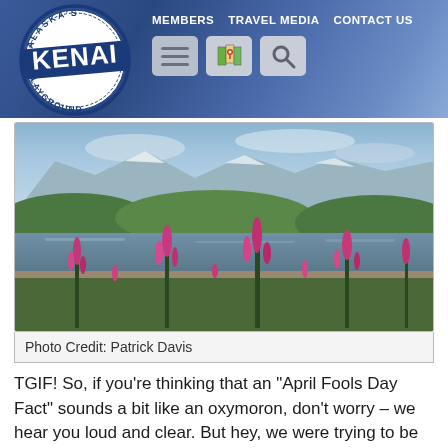[Figure (logo): Alaska's Kenai Playground circular stamp logo in blue ink]
MEMBERS  TRAVEL MEDIA  CONTACT US
[Figure (photo): Scenic Alaskan landscape with mountains, a reflective lake, green forest, and bright pink/magenta fireweed wildflowers in the foreground]
Photo Credit: Patrick Davis
TGIF! So, if you’re thinking that an “April Fools Day Fact” sounds a bit like an oxymoron, don’t worry – we hear you loud and clear. But hey, we were trying to be catchy and relevant as we ring in the first day of April 2016 on this beautiful Friday morning. So cut us some slack, will